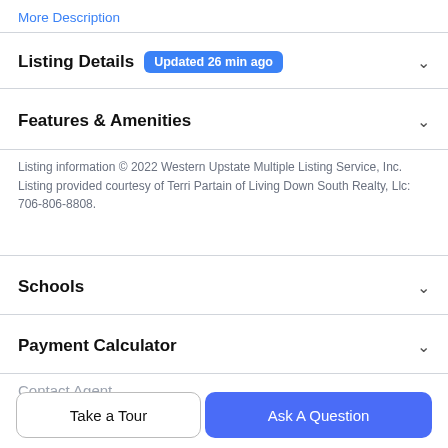More Description
Listing Details  Updated 26 min ago
Features & Amenities
Listing information © 2022 Western Upstate Multiple Listing Service, Inc. Listing provided courtesy of Terri Partain of Living Down South Realty, Llc: 706-806-8808.
Schools
Payment Calculator
Contact Agent
Take a Tour
Ask A Question